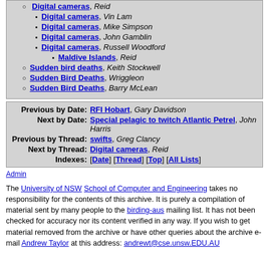Digital cameras, Vin Lam
Digital cameras, Mike Simpson
Digital cameras, John Gamblin
Digital cameras, Russell Woodford
Maldive Islands, Reid
Sudden bird deaths, Keith Stockwell
Sudden Bird Deaths, Wriggleon
Sudden Bird Deaths, Barry McLean
| Label | Value |
| --- | --- |
| Previous by Date: | RFI Hobart, Gary Davidson |
| Next by Date: | Special pelagic to twitch Atlantic Petrel, John Harris |
| Previous by Thread: | swifts, Greg Clancy |
| Next by Thread: | Digital cameras, Reid |
| Indexes: | [Date] [Thread] [Top] [All Lists] |
Admin
The University of NSW School of Computer and Engineering takes no responsibility for the contents of this archive. It is purely a compilation of material sent by many people to the birding-aus mailing list. It has not been checked for accuracy nor its content verified in any way. If you wish to get material removed from the archive or have other queries about the archive e-mail Andrew Taylor at this address: andrewt@cse.unsw.EDU.AU